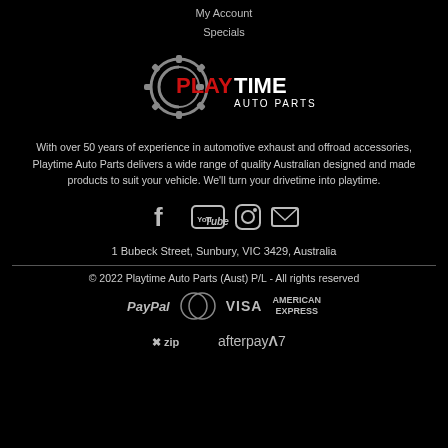My Account
Specials
[Figure (logo): Playtime Auto Parts logo with gear icon and red/white text]
With over 50 years of experience in automotive exhaust and offroad accessories, Playtime Auto Parts delivers a wide range of quality Australian designed and made products to suit your vehicle. We'll turn your drivetime into playtime.
[Figure (infographic): Social media icons: Facebook, YouTube, Instagram, Email]
1 Bubeck Street, Sunbury, VIC 3429, Australia
© 2022 Playtime Auto Parts (Aust) P/L - All rights reserved
[Figure (infographic): Payment method logos: PayPal, MasterCard, VISA, American Express, Zip, Afterpay]